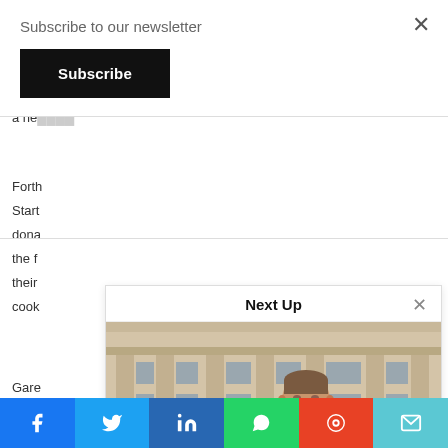Subscribe to our newsletter
Subscribe
a ne...
Forth
Start
dona
the f
their
cook
Gare
Next Up
[Figure (photo): Man in dark suit standing in front of a classical stone building with large windows]
THE SCOTTISH SALMON COMPANY RENAMES OPERATIONS IN SCOTLAND
[Figure (infographic): Social share buttons: Facebook, Twitter, LinkedIn, WhatsApp, Reddit, Email]